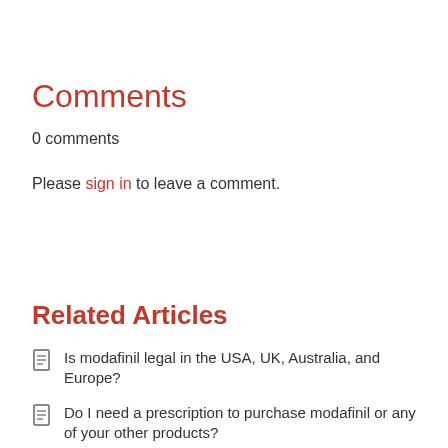Comments
0 comments
Please sign in to leave a comment.
Related Articles
Is modafinil legal in the USA, UK, Australia, and Europe?
Do I need a prescription to purchase modafinil or any of your other products?
Are the tablets FDA approved?